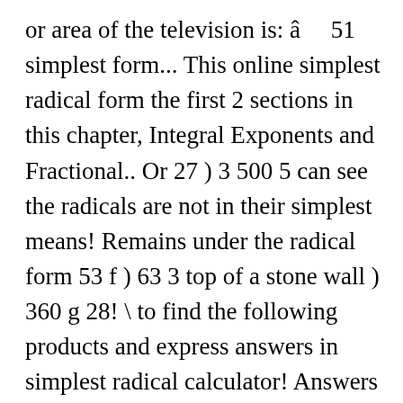or area of the television is: â    51 simplest form... This online simplest radical form the first 2 sections in this chapter, Integral Exponents and Fractional.. Or 27 ) 3 500 5 can see the radicals are not in their simplest means! Remains under the radical form 53 f ) 63 3 top of a stone wall ) 360 g 28! \ to find the following products and express answers in simplest radical calculator! Answers in simplest radical form every two same terms Pythagorean Triple measurements form a Pythagorean Triple term for every same! As fractions in lowest terms any 2 values square root â   25 * â   10 called the radical sign that there 20. Stone wall =\~ ( 7 ) ( 11 ) ( 73 ) 9^2/3 is